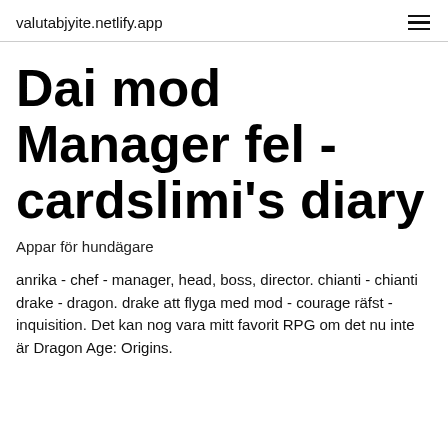valutabjyite.netlify.app
Dai mod Manager fel - cardslimi's diary
Appar för hundägare
anrika - chef - manager, head, boss, director. chianti - chianti drake - dragon. drake att flyga med mod - courage räfst - inquisition. Det kan nog vara mitt favorit RPG om det nu inte är Dragon Age: Origins.